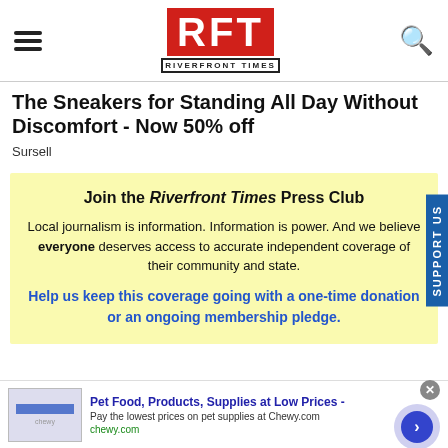RFT RIVERFRONT TIMES
The Sneakers for Standing All Day Without Discomfort - Now 50% off
Sursell
Join the Riverfront Times Press Club

Local journalism is information. Information is power. And we believe everyone deserves access to accurate independent coverage of their community and state.
Help us keep this coverage going with a one-time donation or an ongoing membership pledge.
[Figure (screenshot): Chewy.com advertisement: Pet Food, Products, Supplies at Low Prices - Pay the lowest prices on pet supplies at Chewy.com]